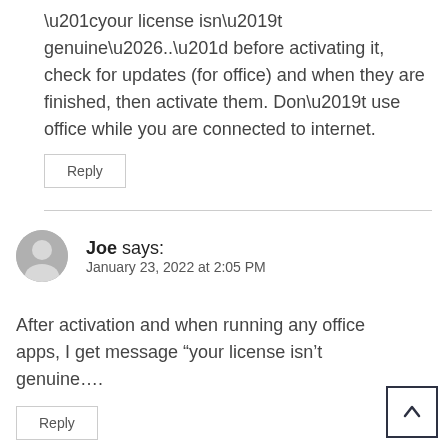“your license isn’t genuine…..” before activating it, check for updates (for office) and when they are finished, then activate them. Don’t use office while you are connected to internet.
Reply
Joe says:
January 23, 2022 at 2:05 PM
After activation and when running any office apps, I get message “your license isn’t genuine….
Reply